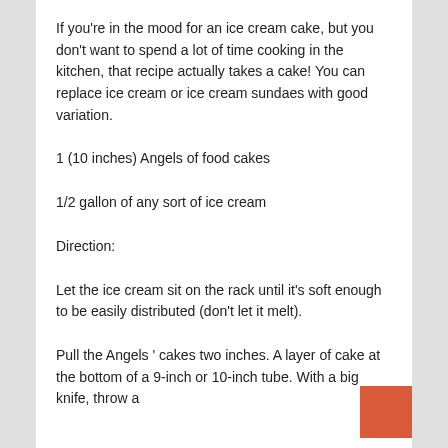If you're in the mood for an ice cream cake, but you don't want to spend a lot of time cooking in the kitchen, that recipe actually takes a cake! You can replace ice cream or ice cream sundaes with good variation.
1 (10 inches) Angels of food cakes
1/2 gallon of any sort of ice cream
Direction:
Let the ice cream sit on the rack until it's soft enough to be easily distributed (don't let it melt).
Pull the Angels ' cakes two inches. A layer of cake at the bottom of a 9-inch or 10-inch tube. With a big knife, throw a